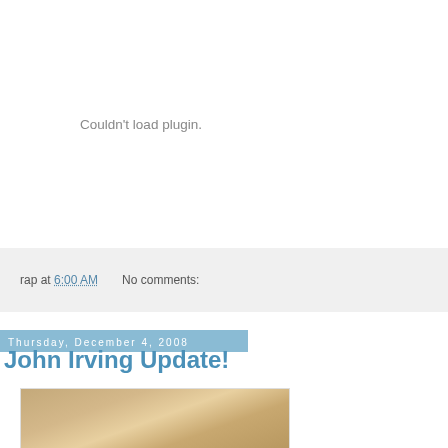Couldn't load plugin.
rap at 6:00 AM    No comments:
Thursday, December 4, 2008
John Irving Update!
[Figure (photo): Partial photo of a person with light brown/blonde hair, showing the top and back of the head]